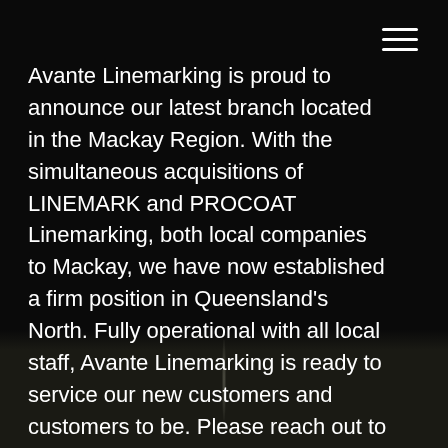[Figure (photo): Dark background webpage screenshot with black upper area and dark olive/brown lower area with a faint vertical light element]
Avante Linemarking is proud to announce our latest branch located in the Mackay Region. With the simultaneous acquisitions of LINEMARK and PROCOAT Linemarking, both local companies to Mackay, we have now established a firm position in Queensland's North. Fully operational with all local staff, Avante Linemarking is ready to service our new customers and customers to be. Please reach out to the contact details below.